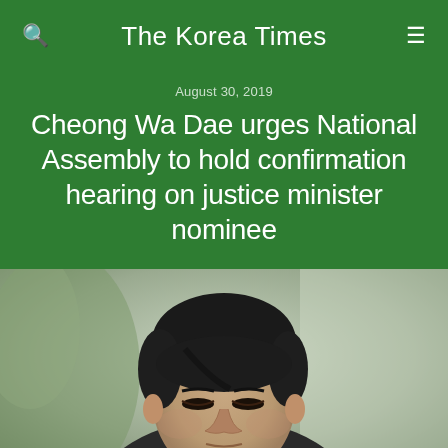The Korea Times
August 30, 2019
Cheong Wa Dae urges National Assembly to hold confirmation hearing on justice minister nominee
[Figure (photo): A middle-aged East Asian man in a dark suit with white shirt, looking downward, photographed outdoors with blurred green background.]